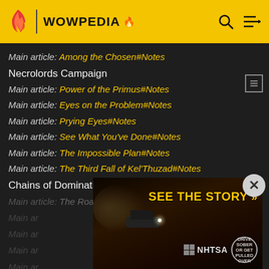WOWPEDIA
Main article: Among the Chosen#Notes
Necrolords Campaign
Main article: Power of the Primus#Notes
Main article: Eyes on the Problem#Notes
Main article: Prying Eyes#Notes
Main article: See What You've Done#Notes
Main article: The Impossible Plan#Notes
Main article: The Third Fall of Kel'Thuzad#Notes
Chains of Domination campaign
Main article: The Roads We Walk#Notes
Main ar... (partially obscured)
[Figure (screenshot): NHTSA advertisement banner with 'SEE THE STORY >>' text in yellow on dark background, with NHTSA logo and 'Drive Sober or Get Pulled Over' badge]